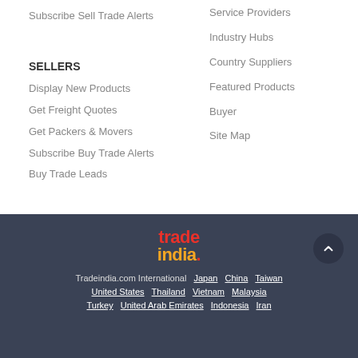Subscribe Sell Trade Alerts
Service Providers
Industry Hubs
SELLERS
Country Suppliers
Display New Products
Featured Products
Get Freight Quotes
Buyer
Get Packers & Movers
Site Map
Subscribe Buy Trade Alerts
Buy Trade Leads
[Figure (logo): TradeIndia logo with 'trade' in red and 'india.' in orange/yellow on dark background]
Tradeindia.com International  Japan  China  Taiwan  United States  Thailand  Vietnam  Malaysia  Turkey  United Arab Emirates  Indonesia  Iran